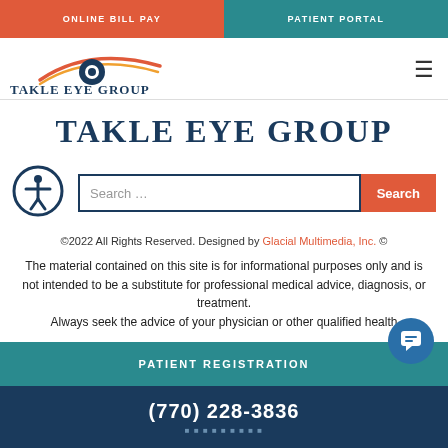ONLINE BILL PAY | PATIENT PORTAL
[Figure (logo): Takle Eye Group logo with stylized eye graphic in orange and dark blue, with text TAKLE EYE GROUP]
TAKLE EYE GROUP
[Figure (other): Accessibility icon (person in circle) and search bar with placeholder 'Search ...' and orange Search button]
©2022 All Rights Reserved. Designed by Glacial Multimedia, Inc. ©
The material contained on this site is for informational purposes only and is not intended to be a substitute for professional medical advice, diagnosis, or treatment. Always seek the advice of your physician or other qualified health
PATIENT REGISTRATION
(770) 228-3836